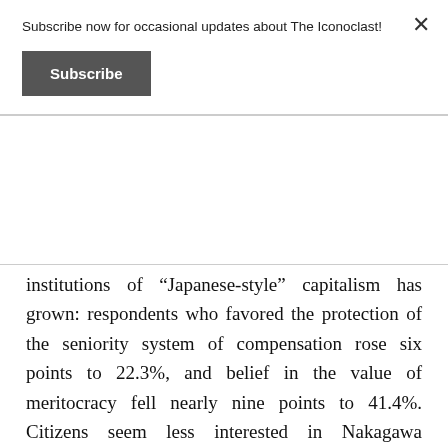Subscribe now for occasional updates about The Iconoclast!
Subscribe
institutions of “Japanese-style” capitalism has grown: respondents who favored the protection of the seniority system of compensation rose six points to 22.3%, and belief in the value of meritocracy fell nearly nine points to 41.4%. Citizens seem less interested in Nakagawa Hidenao’s argument that Japan will be able to grow itself out of its problems than in being sure that they will have enough in their old age. They are not interested in promised handouts or, for that matter, talk of consumption tax increases to come. It seems that what they want is quite simple: some modicum of